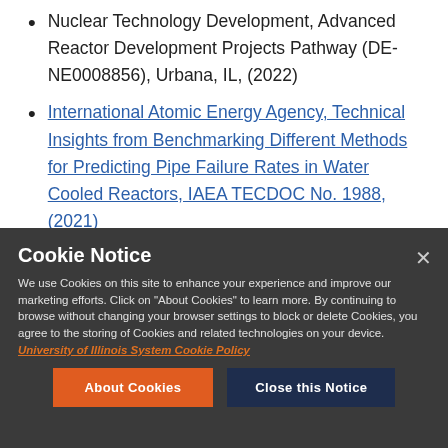Nuclear Technology Development, Advanced Reactor Development Projects Pathway (DE-NE0008856), Urbana, IL, (2022)
International Atomic Energy Agency, Technical Insights from Benchmarking Different Methods for Predicting Pipe Failure Rates in Water Cooled Reactors, IAEA TECDOC No. 1988, (2021)
Cookie Notice
We use Cookies on this site to enhance your experience and improve our marketing efforts. Click on "About Cookies" to learn more. By continuing to browse without changing your browser settings to block or delete Cookies, you agree to the storing of Cookies and related technologies on your device. University of Illinois System Cookie Policy